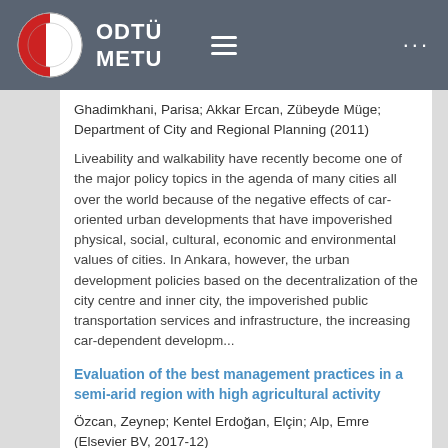ODTÜ METU
Ghadimkhani, Parisa; Akkar Ercan, Zübeyde Müge; Department of City and Regional Planning (2011)
Liveability and walkability have recently become one of the major policy topics in the agenda of many cities all over the world because of the negative effects of car-oriented urban developments that have impoverished physical, social, cultural, economic and environmental values of cities. In Ankara, however, the urban development policies based on the decentralization of the city centre and inner city, the impoverished public transportation services and infrastructure, the increasing car-dependent developm...
Evaluation of the best management practices in a semi-arid region with high agricultural activity
Özcan, Zeynep; Kentel Erdoğan, Elçin; Alp, Emre (Elsevier BV, 2017-12)
The arid and semi-arid regions with water scarcity are vulnerable to several stressors such as urbanization, high...